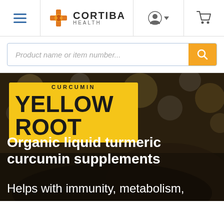[Figure (logo): Cortiba Health logo with orange cross/leaf icon and brand name]
Product name or item number...
[Figure (photo): Dark bokeh background photo with person's hair visible, overlaid with Yellow Root curcumin product branding]
CURCUMIN YELLOW ROOT
Organic liquid turmeric curcumin supplements
Helps with immunity, metabolism,